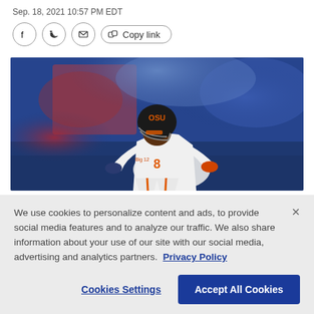Sep. 18, 2021 10:57 PM EDT
[Figure (other): Share bar with Facebook, Twitter, email, copy link buttons]
[Figure (photo): Football player in Oklahoma State Cowboys uniform (white jersey, black helmet with OSU logo, Big 12 patch) running with the ball, blurred crowd in background]
We use cookies to personalize content and ads, to provide social media features and to analyze our traffic. We also share information about your use of our site with our social media, advertising and analytics partners. Privacy Policy
Cookies Settings
Accept All Cookies